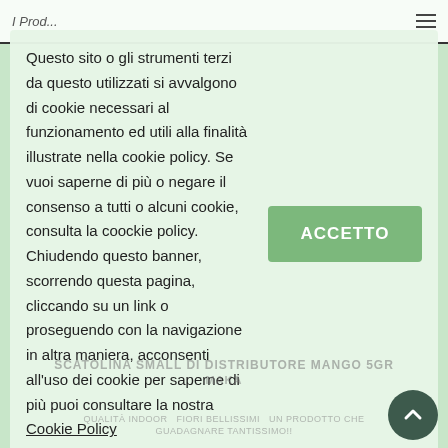I Prod...
Questo sito o gli strumenti terzi da questo utilizzati si avvalgono di cookie necessari al funzionamento ed utili alla finalità illustrate nella cookie policy. Se vuoi saperne di più o negare il consenso a tutti o alcuni cookie, consulta la coockie policy. Chiudendo questo banner, scorrendo questa pagina, cliccando su un link o proseguendo con la navigazione in altra maniera, acconsenti all'uso dei cookie per saperne di più puoi consultare la nostra Cookie Policy
SCATOLINA SMALL DI DISTRIBUTORE MANGO 5GR MAKA
QUALITÀ INDOOR   FIORI BELLISSIMI  UN PRODOTTO CHE GUADAGNARE TANTISSIMO!!